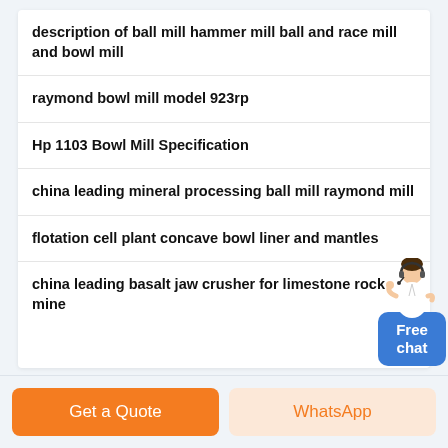description of ball mill hammer mill ball and race mill and bowl mill
raymond bowl mill model 923rp
Hp 1103 Bowl Mill Specification
china leading mineral processing ball mill raymond mill
flotation cell plant concave bowl liner and mantles
china leading basalt jaw crusher for limestone rock mine
[Figure (illustration): Customer service representative figure with Free chat button widget on the right side]
Get a Quote
WhatsApp